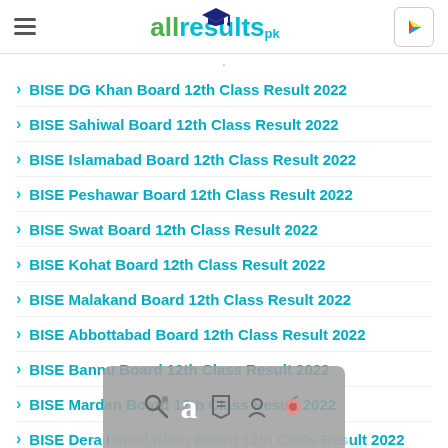allresults.pk
BISE DG Khan Board 12th Class Result 2022
BISE Sahiwal Board 12th Class Result 2022
BISE Islamabad Board 12th Class Result 2022
BISE Peshawar Board 12th Class Result 2022
BISE Swat Board 12th Class Result 2022
BISE Kohat Board 12th Class Result 2022
BISE Malakand Board 12th Class Result 2022
BISE Abbottabad Board 12th Class Result 2022
BISE Bannu Board 12th Class Result 2022
BISE Mardan Board 12th Class Result 2022
BISE Dera Ismail Khan Board 12th Class Result 2022
BIKE Karachi Board 12th Class Result 2022